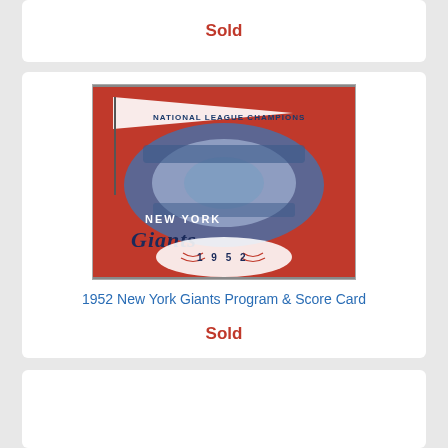Sold
[Figure (illustration): 1952 New York Giants Program & Score Card cover showing a baseball stadium aerial view with a pennant reading 'National League Champions', Giants script logo, and a baseball with '1952' on it, on a red background]
1952 New York Giants Program & Score Card
Sold